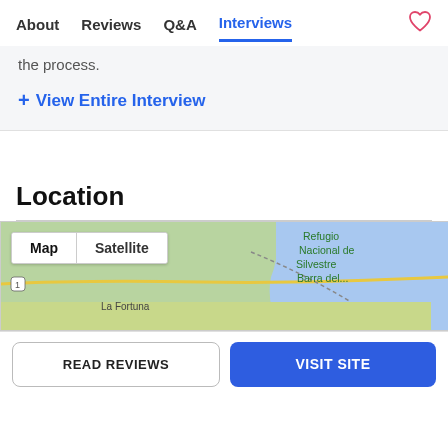About  Reviews  Q&A  Interviews
the process.
+ View Entire Interview
Location
[Figure (map): Google Maps embed showing La Fortuna area and Refugio Nacional de Vida Silvestre Barra del... with Map/Satellite toggle buttons]
READ REVIEWS   VISIT SITE